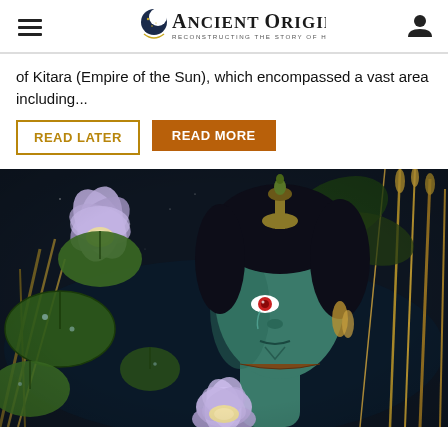Ancient Origins — Reconstructing the story of humanity's past
of Kitara (Empire of the Sun), which encompassed a vast area including...
READ LATER
READ MORE
[Figure (illustration): Fantasy illustration of a blue-skinned humanoid figure with red eyes, surrounded by water lily pads, lotus flowers, and golden grass/wheat. Dark starry background with green lily pads and purple/lavender lotus blooms in foreground and background.]